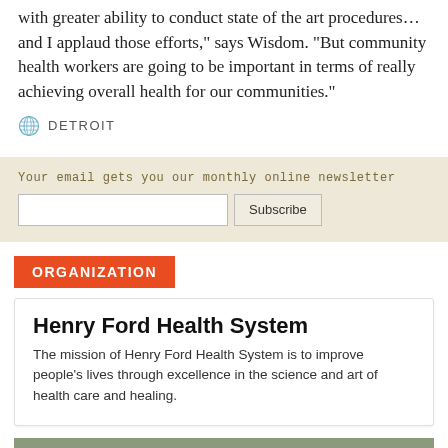with greater ability to conduct state of the art procedures… and I applaud those efforts," says Wisdom. "But community health workers are going to be important in terms of really achieving overall health for our communities."
DETROIT
Your email gets you our monthly online newsletter
ORGANIZATION
Henry Ford Health System
The mission of Henry Ford Health System is to improve people's lives through excellence in the science and art of health care and healing.
[Figure (photo): Photo strip showing two figures outdoors on a field, partially visible at bottom of page]